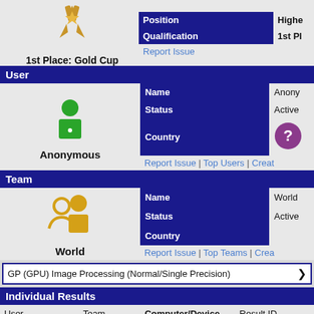[Figure (illustration): Gold trophy/award icon with ribbon]
1st Place: Gold Cup
| Position |  |
| --- | --- |
| Position | Higher |
| Qualification | 1st Pl... |
Report Issue
User
[Figure (illustration): Green anonymous user avatar icon]
Anonymous
| Name | Anony... |
| --- | --- |
| Name | Anony |
| Status | Active |
| Country |  |
Report Issue | Top Users | Creat
Team
[Figure (illustration): Gold team/group avatar icon showing two people]
World
| Name | World |
| --- | --- |
| Name | World |
| Status | Active |
| Country |  |
Report Issue | Top Teams | Crea
GP (GPU) Image Processing (Normal/Single Precision)
Individual Results
| User | Team | Computer/Device | Result ID |
| --- | --- | --- | --- |
| Anonymous | World | GigaByte X570 AORUS ELITE | NVIDIA Ge (10240S 80... |
[Figure (logo): Small green user avatar icon]
[Figure (logo): Small gold team icon]
[Figure (logo): Gigabyte G brand logo]
[Figure (logo): NVIDIA GPU brand logo]